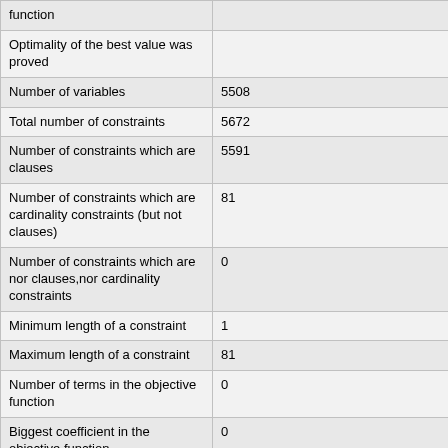| Property | Value |
| --- | --- |
| function |  |
| Optimality of the best value was proved |  |
| Number of variables | 5508 |
| Total number of constraints | 5672 |
| Number of constraints which are clauses | 5591 |
| Number of constraints which are cardinality constraints (but not clauses) | 81 |
| Number of constraints which are nor clauses,nor cardinality constraints | 0 |
| Minimum length of a constraint | 1 |
| Maximum length of a constraint | 81 |
| Number of terms in the objective function | 0 |
| Biggest coefficient in the objective function | 0 |
| Number of bits for the biggest coefficient in the objective function | 0 |
| Sum of the numbers in the objective function | 0 |